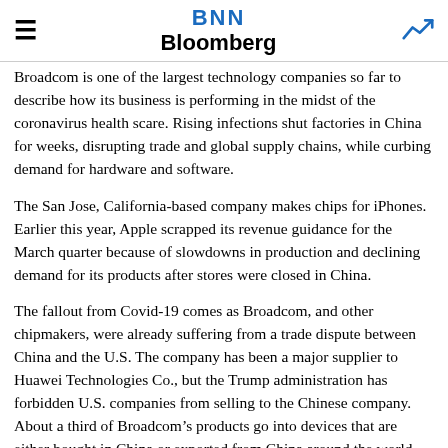BNN Bloomberg
Broadcom is one of the largest technology companies so far to describe how its business is performing in the midst of the coronavirus health scare. Rising infections shut factories in China for weeks, disrupting trade and global supply chains, while curbing demand for hardware and software.
The San Jose, California-based company makes chips for iPhones. Earlier this year, Apple scrapped its revenue guidance for the March quarter because of slowdowns in production and declining demand for its products after stores were closed in China.
The fallout from Covid-19 comes as Broadcom, and other chipmakers, were already suffering from a trade dispute between China and the U.S. The company has been a major supplier to Huawei Technologies Co., but the Trump administration has forbidden U.S. companies from selling to the Chinese company. About a third of Broadcom’s products go into devices that are either bought in China or exported from China around the world.
CEO Tan has built Broadcom into one of the biggest...